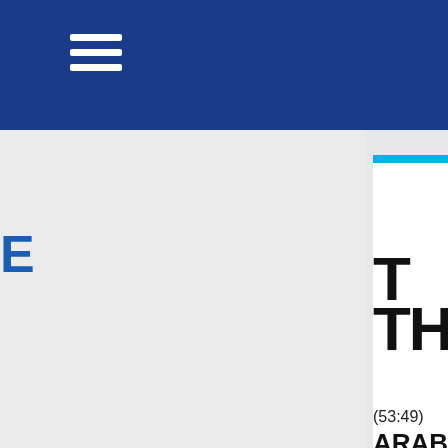[Figure (screenshot): Mobile app screenshot showing a navigation header bar in dark blue with a white hamburger menu icon, a left gray content panel with partial blue letter 'E' visible, and a right white card panel with a cyan accent bar at top, large bold letters 'T' and 'TH', a scripture reference '(53:49)', and bold text 'ARABIC']
E
T
TH
(53:49)
ARABIC